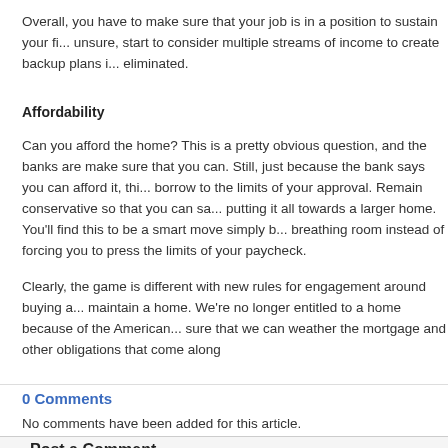Overall, you have to make sure that your job is in a position to sustain your fi... unsure, start to consider multiple streams of income to create backup plans i... eliminated.
Affordability
Can you afford the home? This is a pretty obvious question, and the banks are make sure that you can. Still, just because the bank says you can afford it, thi... borrow to the limits of your approval. Remain conservative so that you can sa... putting it all towards a larger home. You'll find this to be a smart move simply b... breathing room instead of forcing you to press the limits of your paycheck.
Clearly, the game is different with new rules for engagement around buying ar... maintain a home. We're no longer entitled to a home because of the American... sure that we can weather the mortgage and other obligations that come along
0 Comments
No comments have been added for this article.
Post a Comment
Name: (Required)